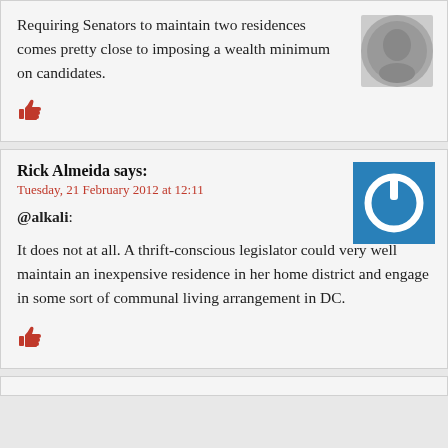Requiring Senators to maintain two residences comes pretty close to imposing a wealth minimum on candidates.
[Figure (illustration): Coin or medallion avatar image in top right of first comment]
[Figure (illustration): Thumbs up icon]
Rick Almeida says:
Tuesday, 21 February 2012 at 12:11
[Figure (illustration): Blue square power button icon avatar for Rick Almeida]
@alkali:
It does not at all. A thrift-conscious legislator could very well maintain an inexpensive residence in her home district and engage in some sort of communal living arrangement in DC.
[Figure (illustration): Thumbs up icon]